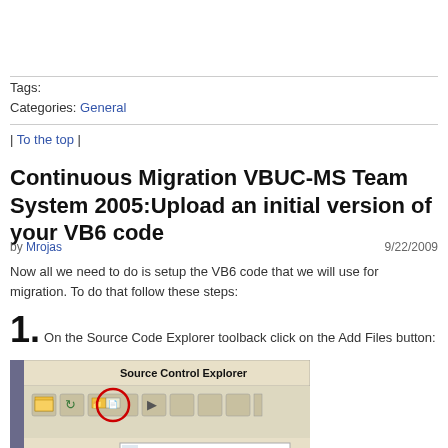Tags:
Categories: General
| To the top |
Continuous Migration VBUC-MS Team System 2005:Upload an initial version of your VB6 code
by Mrojas  9/22/2009
Now all we need to do is setup the VB6 code that we will use for migration. To do that follow these steps:
1. On the Source Code Explorer toolback click on the Add Files button:
[Figure (screenshot): Screenshot of Source Control Explorer toolbar with Add Files button circled in red, and Source location field showing $/MergeExample]